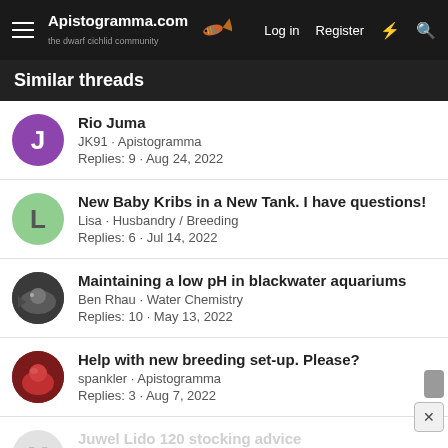Apistogramma.com — the dwarf cichlid community | Log in | Register
Similar threads
Rio Juma
JK91 · Apistogramma
Replies: 9 · Aug 24, 2022
New Baby Kribs in a New Tank. I have questions!
Lisa · Husbandry / Breeding
Replies: 6 · Jul 14, 2022
Maintaining a low pH in blackwater aquariums
Ben Rhau · Water Chemistry
Replies: 10 · May 13, 2022
Help with new breeding set-up. Please?
spankler · Apistogramma
Replies: 3 · Aug 7, 2022
Juwel Lido 120 stocking advice
mike_cummi · Other South American Dwarf Cichlids